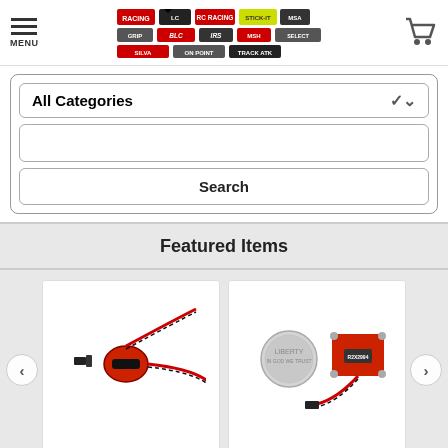[Figure (logo): RC hobby shop website header with menu icon, multi-brand logo cluster (various RC product brand logos), and shopping cart icon]
[Figure (screenshot): Search interface with All Categories dropdown, text input field, and Search button]
Featured Items
[Figure (photo): Product photo of MYL ARS RC4 2 Wire Direct electronic component with red and black wires]
[Figure (photo): Product photo of RC4 Hybrid Direct Power electronic component (red box) shown next to a dime for scale]
MYL ARS RC4 "2 Wire" Direct
RC4 Hybrid Direct Power